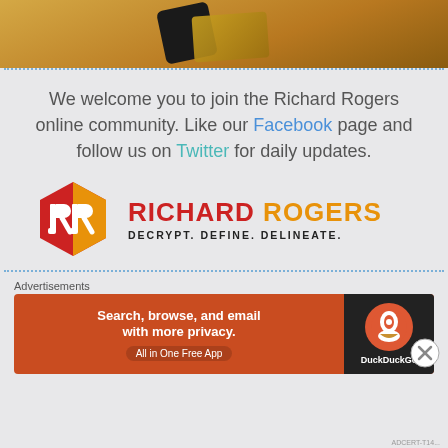[Figure (photo): Partial photo of phone and gold-colored card/book on wooden surface, cropped at top]
We welcome you to join the Richard Rogers online community. Like our Facebook page and follow us on Twitter for daily updates.
[Figure (logo): Richard Rogers logo — hexagonal red/orange badge with RR monogram, text RICHARD ROGERS in red/orange, tagline DECRYPT. DEFINE. DELINEATE.]
Advertisements
[Figure (screenshot): DuckDuckGo advertisement banner: Search, browse, and email with more privacy. All in One Free App. DuckDuckGo logo on dark right panel.]